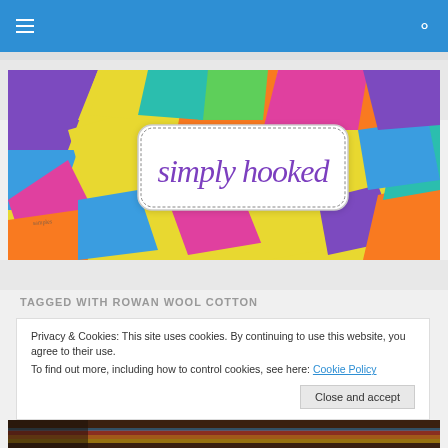Navigation bar with hamburger menu and search icon
[Figure (illustration): Colorful patchwork/quilted banner illustration with the text 'simply hooked' in purple script on a white rounded rectangle, surrounded by bright colored geometric shapes in yellow, orange, pink, blue, purple, teal and green.]
TAGGED WITH ROWAN WOOL COTTON
Privacy & Cookies: This site uses cookies. By continuing to use this website, you agree to their use.
To find out more, including how to control cookies, see here: Cookie Policy
Close and accept